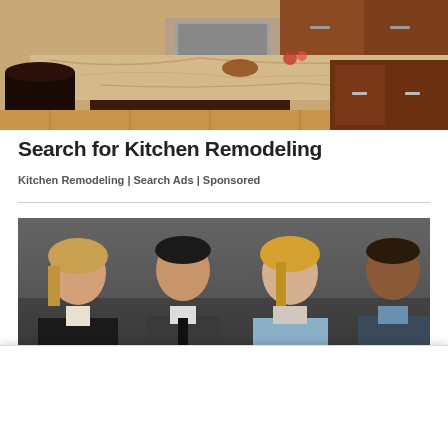[Figure (photo): Luxury kitchen with marble/granite island countertops, dark wood cabinets, stainless steel appliances]
Search for Kitchen Remodeling
Kitchen Remodeling | Search Ads | Sponsored
[Figure (photo): Four professional people (two women, two men) posing against a dark grey background in professional attire]
If you enjoy The Beaverton, consider supporting us by signing up for a Subscription through Coil. Here's how...
Get Access Now